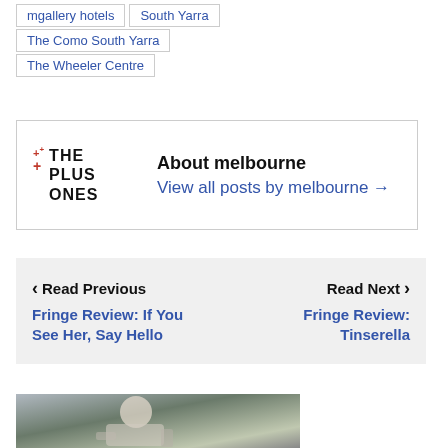mgallery hotels
South Yarra
The Como South Yarra
The Wheeler Centre
About melbourne
View all posts by melbourne →
❮ Read Previous
Fringe Review: If You See Her, Say Hello
Read Next ❯
Fringe Review: Tinserella
[Figure (photo): A person in a white t-shirt and apron leaning over, photographed outdoors]